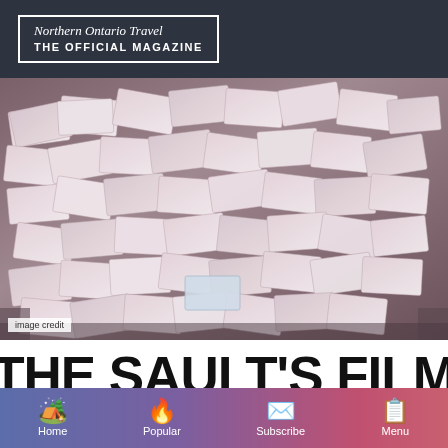Northern Ontario Travel THE OFFICIAL MAGAZINE
[Figure (photo): A large pile of film festival badge/credential cards scattered on a dark surface, viewed from above.]
image credit
THE SAULT'S FILM FESTIVAL TURNS 30
Home | Popular | Subscribe | Menu